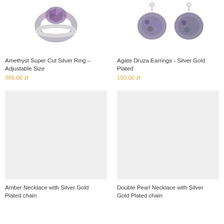[Figure (photo): Amethyst Super Cut Silver Ring product photo showing purple amethyst stone in silver ring setting]
[Figure (photo): Agate Druza Earrings product photo showing purple/grey druza agate stones in silver gold plated settings]
Amethyst Super Cut Silver Ring – Adjustable Size
365,00 zł
Agate Druza Earrings - Silver Gold Plated
150,00 zł
[Figure (photo): Amber Necklace with Silver Gold Plated chain product photo placeholder (light grey background, no image visible)]
[Figure (photo): Double Pearl Necklace with Silver Gold Plated chain product photo placeholder (light grey background, no image visible)]
Amber Necklace with Silver Gold Plated chain
Double Pearl Necklace with Silver Gold Plated chain